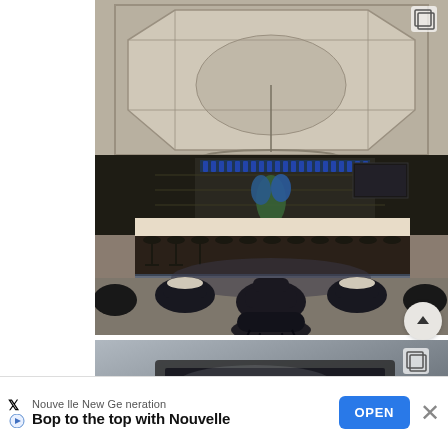[Figure (photo): Interior of an upscale hotel bar/lounge with dark navy seating, marble floor, a long bar in the background with blue accent bottles, coffered ceiling with octagonal panels and pendant lighting. Multiple seating areas with round tables and barrel chairs arranged on a circular rug.]
[Figure (photo): Partial view of a second photo showing what appears to be a device or technology product on a dark/silver surface, partially visible at the bottom of the screen.]
Nouvelle New Generation
Bop to the top with Nouvelle
OPEN